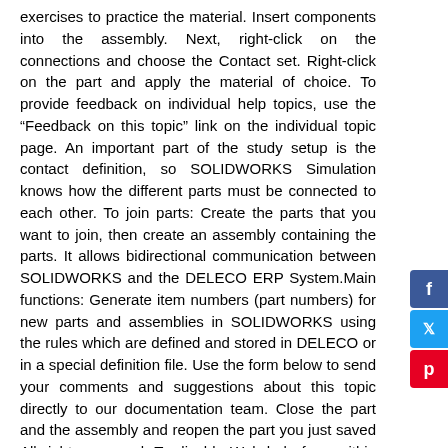exercises to practice the material. Insert components into the assembly. Next, right-click on the connections and choose the Contact set. Right-click on the part and apply the material of choice. To provide feedback on individual help topics, use the “Feedback on this topic” link on the individual topic page. An important part of the study setup is the contact definition, so SOLIDWORKS Simulation knows how the different parts must be connected to each other. To join parts: Create the parts that you want to join, then create an assembly containing the parts. It allows bidirectional communication between SOLIDWORKS and the DELECO ERP System.Main functions: Generate item numbers (part numbers) for new parts and assemblies in SOLIDWORKS using the rules which are defined and stored in DELECO or in a special definition file. Use the form below to send your comments and suggestions about this topic directly to our documentation team. Close the part and the assembly and reopen the part you just saved All rights reserved. To disable Web help from within SOLIDWORKS and use local help instead, click Help > Use SOLIDWORKS Web Help. Search ‘Creating a Joined Part’ in the SOLIDWORKS Knowledge Base. Adding Components to an Assembly When you place a component (either an individual part or a subassembly) in an assembly, the component file is linked to the assembly file. →. This connector is an add in to desktop SOLIDWORKS just like Toolbox, Routing or any other add in. Click Make Assembly from Part/Assembly (Standard toolbar) or File > Make Assembly from Part. Building standalone sheet metal parts,
[Figure (infographic): Social media sharing buttons: Facebook (blue), Twitter (light blue), Pinterest (red)]